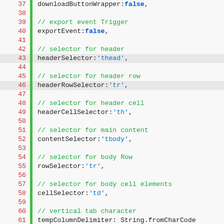[Figure (screenshot): Source code editor showing JavaScript/TypeScript code lines 37–61 with syntax highlighting. Line numbers in red on left, green vertical bar, code with comments in green and string literals in blue.]